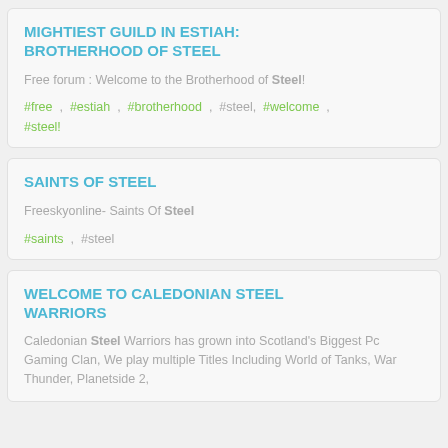MIGHTIEST GUILD IN ESTIAH: BROTHERHOOD OF STEEL
Free forum : Welcome to the Brotherhood of Steel!
#free , #estiah , #brotherhood , #steel, #welcome , #steel!
SAINTS OF STEEL
Freeskyonline- Saints Of Steel
#saints , #steel
WELCOME TO CALEDONIAN STEEL WARRIORS
Caledonian Steel Warriors has grown into Scotland's Biggest Pc Gaming Clan, We play multiple Titles Including World of Tanks, War Thunder, Planetside 2,